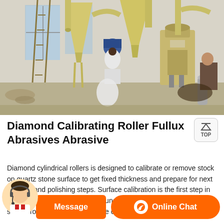[Figure (photo): Industrial facility interior showing large yellow conical hoppers/cyclones, pipes, and grinding/milling machinery on a concrete floor with ladders, workers, and industrial equipment.]
Diamond Calibrating Roller Fullux Abrasives Abrasive
Diamond cylindrical rollers is designed to calibrate or remove stock on quartz stone surface to get fixed thickness and prepare for next grinding and polishing steps. Surface calibration is the first step in quartz stone polishing and it is fundamental important in the quartz stone processing and usually the calibration are done on both the